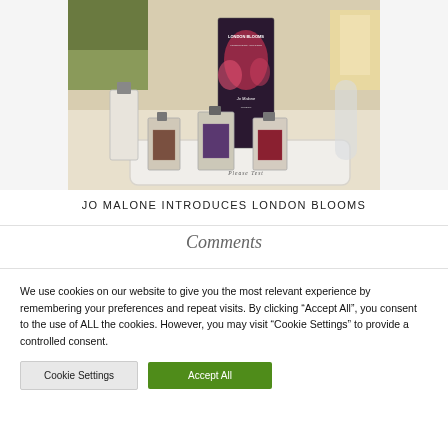[Figure (photo): Jo Malone London Blooms fragrance bottles displayed on a white tray on a table, with a tall decorative display card in the background. The bottles have colorful floral labels. A 'Please Test' sign is visible on the tray.]
JO MALONE INTRODUCES LONDON BLOOMS
Comments
We use cookies on our website to give you the most relevant experience by remembering your preferences and repeat visits. By clicking “Accept All”, you consent to the use of ALL the cookies. However, you may visit “Cookie Settings” to provide a controlled consent.
Cookie Settings | Accept All